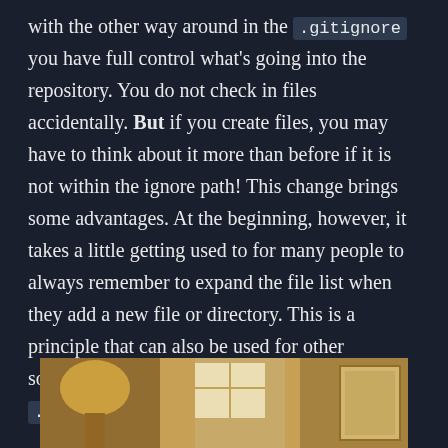with the other way around in the .gitignore you have full control what's going into the repository. You do not check in files accidentally. But if you create files, you may have to think about it more than before if it is not within the ignore path! This change brings some advantages. At the beginning, however, it takes a little getting used to for many people to always remember to expand the file list when they add a new file or directory. This is a principle that can also be used for other software. As for example in the .dockerignore.
[Figure (photo): A warm-toned interior room photo showing what appears to be a lamp on the left, a bright window in the center background, and a framed picture or mirror on the right side.]